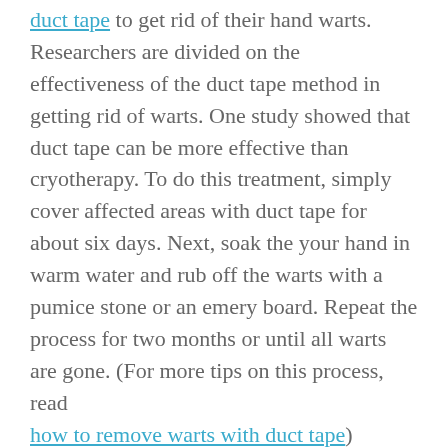duct tape to get rid of their hand warts. Researchers are divided on the effectiveness of the duct tape method in getting rid of warts. One study showed that duct tape can be more effective than cryotherapy. To do this treatment, simply cover affected areas with duct tape for about six days. Next, soak the your hand in warm water and rub off the warts with a pumice stone or an emery board. Repeat the process for two months or until all warts are gone. (For more tips on this process, read how to remove warts with duct tape)
Consult your doctor immediately if you notice any wart-like features on your hands or fingers. It's important for HPV to get diagnosed early so that the spread of warts